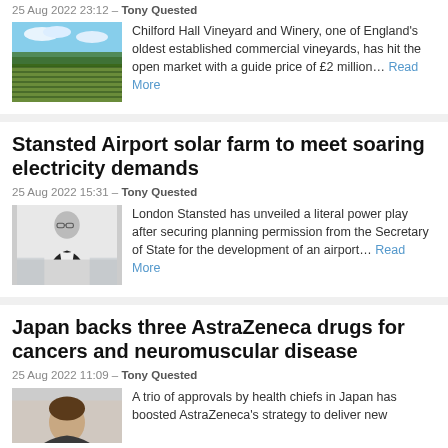25 Aug 2022 23:12 – Tony Quested
[Figure (photo): Aerial view of vineyard rows at Chilford Hall, green vines in rows with trees in background under blue sky]
Chilford Hall Vineyard and Winery, one of England's oldest established commercial vineyards, has hit the open market with a guide price of £2 million… Read More
Stansted Airport solar farm to meet soaring electricity demands
25 Aug 2022 15:31 – Tony Quested
[Figure (photo): Portrait of a man in a dark suit with glasses standing in a bright indoor space]
London Stansted has unveiled a literal power play after securing planning permission from the Secretary of State for the development of an airport… Read More
Japan backs three AstraZeneca drugs for cancers and neuromuscular disease
25 Aug 2022 11:09 – Tony Quested
[Figure (photo): Portrait of a man with dark curly hair]
A trio of approvals by health chiefs in Japan has boosted AstraZeneca's strategy to deliver new